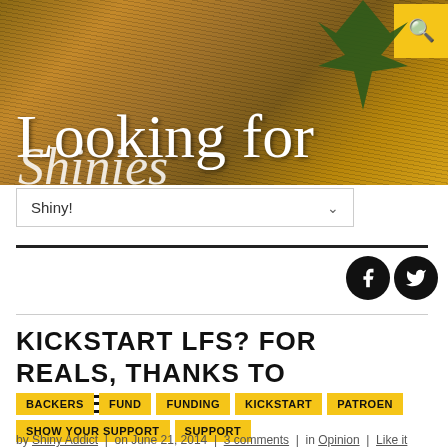[Figure (screenshot): Website header banner with wood-grain textured background in brown/golden tones, plant decoration top right, yellow search icon box, large serif white text 'Looking for' and partial 'Shinies' below]
Shiny! (dropdown menu)
[Figure (other): Social media icons: Facebook and Twitter circles in black]
KICKSTART LFS? FOR REALS, THANKS TO PATREON
BACKERS
FUND
FUNDING
KICKSTART
PATROEN
SHOW YOUR SUPPORT
SUPPORT
by Shiny Addict | on June 21, 2014 | 3 comments | in Opinion | Like it